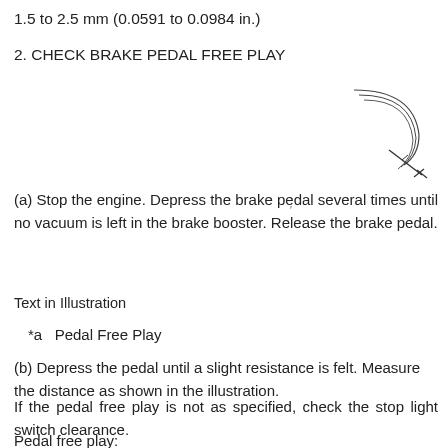1.5 to 2.5 mm (0.0591 to 0.0984 in.)
2. CHECK BRAKE PEDAL FREE PLAY
[Figure (illustration): Illustration showing brake pedal mechanism with curved lines representing the brake booster connection and a pointer/arrow indicating the measurement point.]
(a) Stop the engine. Depress the brake pedal several times until no vacuum is left in the brake booster. Release the brake pedal.
Text in Illustration
*a   Pedal Free Play
(b) Depress the pedal until a slight resistance is felt. Measure the distance as shown in the illustration.
If the pedal free play is not as specified, check the stop light switch clearance.
Pedal free play: